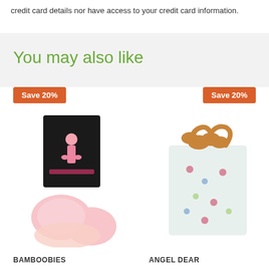credit card details nor have access to your credit card information.
You may also like
[Figure (photo): Product image for BAMBOOBIES with Save 20% badge and promotional product photo showing nursing pads]
[Figure (photo): Product image for ANGEL DEAR with Save 20% badge showing a decorative gift bag]
BAMBOOBIES
ANGEL DEAR